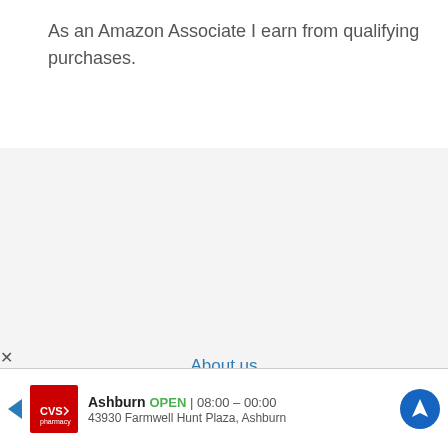As an Amazon Associate I earn from qualifying purchases.
About us
Privacy Policy
Contact us
Terms and conditions
No compatible source was found for this media.
Ashburn OPEN 08:00 – 00:00 43930 Farmwell Hunt Plaza, Ashburn